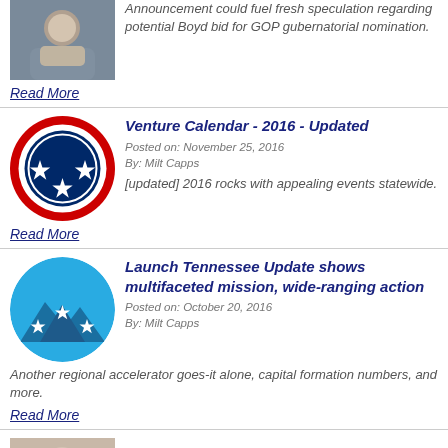[Figure (photo): Person photo thumbnail at top]
Announcement could fuel fresh speculation regarding potential Boyd bid for GOP gubernatorial nomination.
Read More
[Figure (illustration): Tennessee state flag circle with three stars on blue circle inside red ring]
Venture Calendar - 2016 - Updated
Posted on: November 25, 2016
By: Milt Capps
[updated] 2016 rocks with appealing events statewide.
Read More
[Figure (logo): Launch Tennessee circular logo with blue mountain/triangle design and stars]
Launch Tennessee Update shows multifaceted mission, wide-ranging action
Posted on: October 20, 2016
By: Milt Capps
Another regional accelerator goes-it alone, capital formation numbers, and more.
Read More
[Figure (photo): Person headshot thumbnail at bottom]
Venture Notes - 19 October 2016
Posted on: October 19, 2016